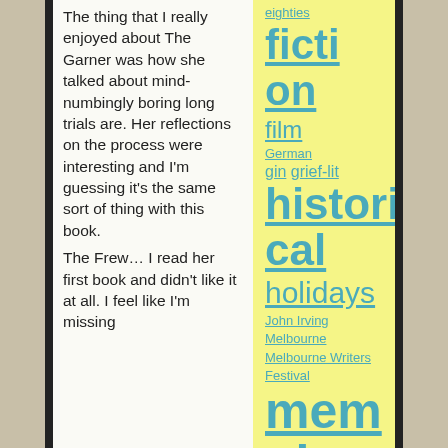The thing that I really enjoyed about The Garner was how she talked about mind-numbingly boring long trials are. Her reflections on the process were interesting and I'm guessing it's the same sort of thing with this book.
The Frew… I read her first book and didn't like it at all. I feel like I'm missing
eighties
fiction
film
German
gin
grief-lit
historical
holidays
John Irving
Melbourne
Melbourne Writers Festival
memoir